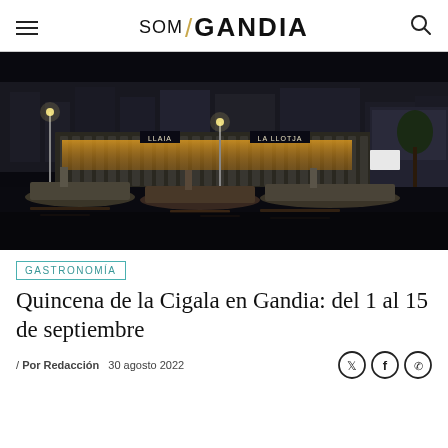SOM / GANDIA
[Figure (photo): Night photo of a harbor in Gandia with fishing boats docked in front of illuminated waterfront restaurant buildings (La Llotja) reflecting on dark water]
GASTRONOMÍA
Quincena de la Cigala en Gandia: del 1 al 15 de septiembre
/ Por Redacción  30 agosto 2022